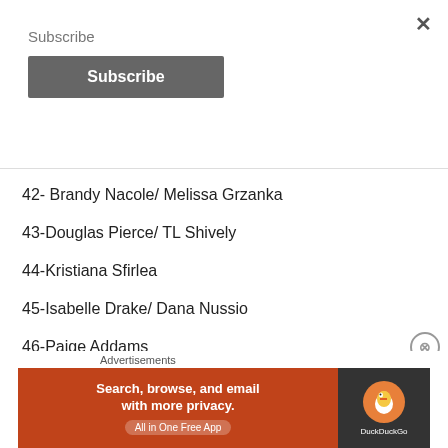Subscribe
Subscribe
42- Brandy Nacole/ Melissa Grzanka
43-Douglas Pierce/ TL Shively
44-Kristiana Sfirlea
45-Isabelle Drake/ Dana Nussio
46-Paige Addams
[Figure (infographic): DuckDuckGo advertisement banner: 'Search, browse, and email with more privacy. All in One Free App' on orange background with DuckDuckGo logo on dark background]